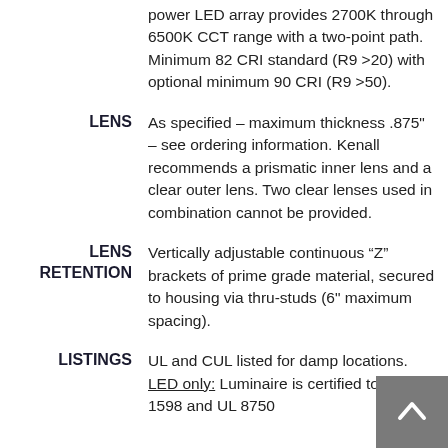power LED array provides 2700K through 6500K CCT range with a two-point path. Minimum 82 CRI standard (R9 >20) with optional minimum 90 CRI (R9 >50).
LENS
As specified – maximum thickness .875" – see ordering information. Kenall recommends a prismatic inner lens and a clear outer lens. Two clear lenses used in combination cannot be provided.
LENS RETENTION
Vertically adjustable continuous “Z” brackets of prime grade material, secured to housing via thru-studs (6" maximum spacing).
LISTINGS
UL and CUL listed for damp locations. LED only: Luminaire is certified to UL 1598 and UL 8750